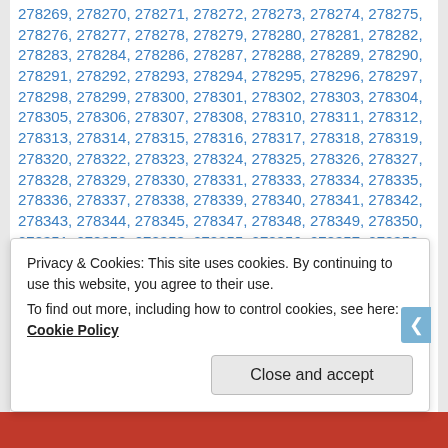278269, 278270, 278271, 278272, 278273, 278274, 278275, 278276, 278277, 278278, 278279, 278280, 278281, 278282, 278283, 278284, 278286, 278287, 278288, 278289, 278290, 278291, 278292, 278293, 278294, 278295, 278296, 278297, 278298, 278299, 278300, 278301, 278302, 278303, 278304, 278305, 278306, 278307, 278308, 278310, 278311, 278312, 278313, 278314, 278315, 278316, 278317, 278318, 278319, 278320, 278322, 278323, 278324, 278325, 278326, 278327, 278328, 278329, 278330, 278331, 278333, 278334, 278335, 278336, 278337, 278338, 278339, 278340, 278341, 278342, 278343, 278344, 278345, 278347, 278348, 278349, 278350, 278351, 278352, 278353, 278355, 278356, 278357, 278358, 278359, 278360, 278361, 278362, 278363, 278364, 278365, 278366, 278368, 278369, 278370, 278371, 278372, 278373, 278374, 278375, 278376, 278377, 278378, 278379, 278380, 278381, 278382, 278383, 278384, 278385, 278386, 278387
Privacy & Cookies: This site uses cookies. By continuing to use this website, you agree to their use. To find out more, including how to control cookies, see here: Cookie Policy